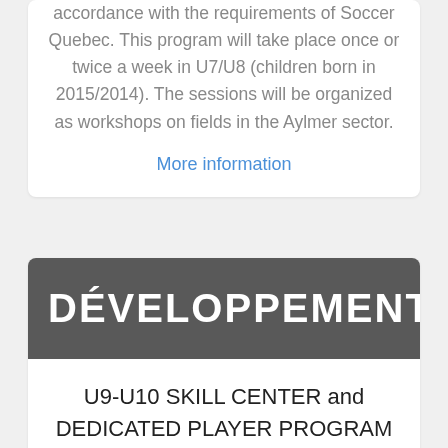accordance with the requirements of Soccer Quebec. This program will take place once or twice a week in U7/U8 (children born in 2015/2014). The sessions will be organized as workshops on fields in the Aylmer sector.
More information
DÉVELOPPEMENT
U9-U10 SKILL CENTER and DEDICATED PLAYER PROGRAM (SCDPP)